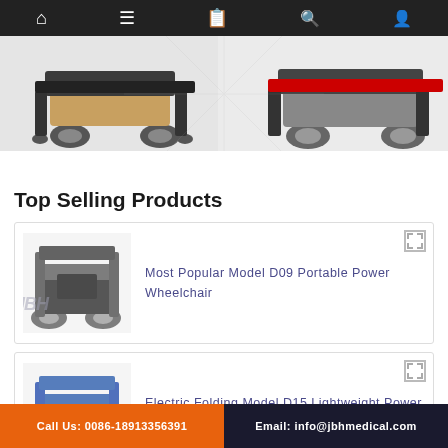Navigation bar with home, menu, catalog, search, and account icons
[Figure (photo): Hero banner showing two mobility/wheelchair products on left and right sides]
Top Selling Products
[Figure (photo): Most Popular Model D09 Portable Power Wheelchair – product image with watermark]
Most Popular Model D09 Portable Power Wheelchair
[Figure (photo): Electric Folding Model D15 Lightweight Power Wheelchair – product image with watermark]
Electric Folding Model D15 Lightweight Power Wheelchair
Call Us: 0086-18913356391   Email: info@jbhmedical.com